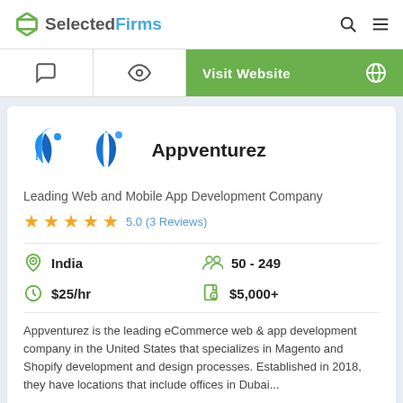SelectedFirms
Visit Website
[Figure (logo): Appventurez company logo - blue teardrop/water drop shapes]
Appventurez
Leading Web and Mobile App Development Company
5.0 (3 Reviews)
India
50 - 249
$25/hr
$5,000+
Appventurez is the leading eCommerce web & app development company in the United States that specializes in Magento and Shopify development and design processes. Established in 2018, they have locations that include offices in Dubai...